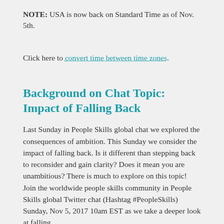NOTE: USA is now back on Standard Time as of Nov. 5th.
Click here to convert time between time zones.
Background on Chat Topic: Impact of Falling Back
Last Sunday in People Skills global chat we explored the consequences of ambition. This Sunday we consider the impact of falling back. Is it different than stepping back to reconsider and gain clarity? Does it mean you are unambitious? There is much to explore on this topic! Join the worldwide people skills community in People Skills global Twitter chat (Hashtag #PeopleSkills) Sunday, Nov 5, 2017 10am EST as we take a deeper look at falling